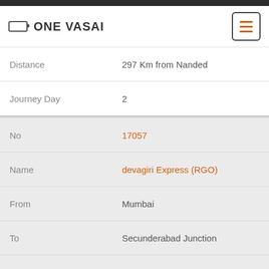ONE VASAI
| Field | Value |
| --- | --- |
| Distance | 297 Km from Nanded |
| Journey Day | 2 |
| No | 17057 |
| Name | devagiri Express (RGO) |
| From | Mumbai |
| To | Secunderabad Junction |
| Arrival | 03:14:00 |
| Departure | 03:15:00 |
| DaysOfWeek | Daily |
| Halt Time | 1 Min |
| Distance | 313 Km from Mumbai |
| Journey Day | 2 |